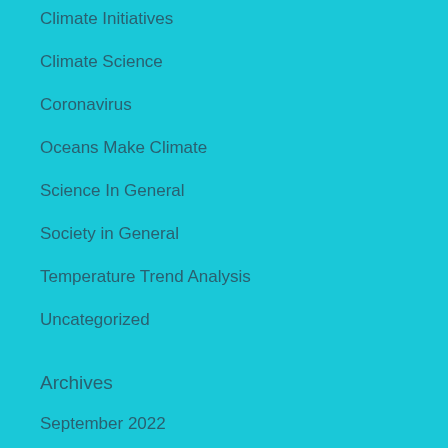Climate Initiatives
Climate Science
Coronavirus
Oceans Make Climate
Science In General
Society in General
Temperature Trend Analysis
Uncategorized
Archives
September 2022
August 2022
July 2022
June 2022